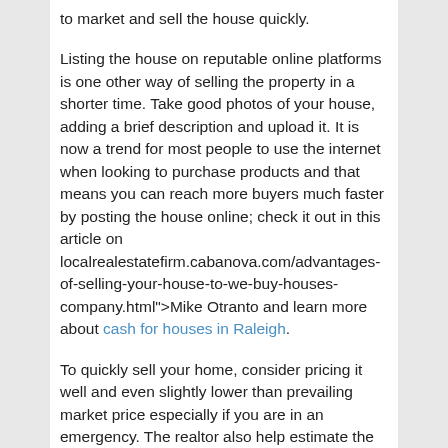to market and sell the house quickly.
Listing the house on reputable online platforms is one other way of selling the property in a shorter time. Take good photos of your house, adding a brief description and upload it. It is now a trend for most people to use the internet when looking to purchase products and that means you can reach more buyers much faster by posting the house online; check it out in this article on localrealestatefirm.cabanova.com/advantages-of-selling-your-house-to-we-buy-houses-company.html">Mike Otranto and learn more about cash for houses in Raleigh.
To quickly sell your home, consider pricing it well and even slightly lower than prevailing market price especially if you are in an emergency. The realtor also help estimate the price of the house so that you can decide on its selling the price. Talk to your neighbors, acquaintances, and friends about the sale of the house, and you might be surprised at how quickly you sell it; read more now on how we buy houses Raleigh.]]>